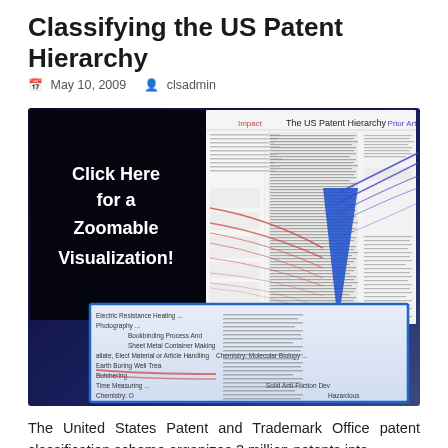Classifying the US Patent Hierarchy
May 10, 2009   clsadmin
[Figure (infographic): Visualization thumbnail showing 'The US Patent Hierarchy' with a 'Click Here for a Zoomable Visualization!' black panel on the left, a detailed patent classification network chart in the center and right showing red and blue curved lines overlaid on dense text data, and a zoomed blue-bordered panel at the bottom showing patent category names like Electric Resistance Heating, Photography, Bookbinding Process And, Sheet Metal Container Making, Material or Article Handling, Chemistry Molecular Biology, Earth Boring Well Trea, Butchering, Time Measuring, Solid Anti-Friction Dev, Hazardous, Chemistry.]
The United States Patent and Trademark Office patent classification scheme organizes 3 million patents into